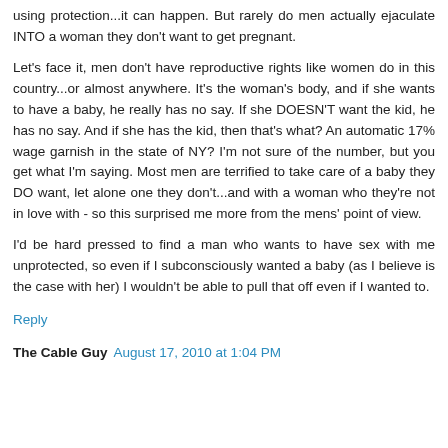using protection...it can happen. But rarely do men actually ejaculate INTO a woman they don't want to get pregnant.
Let's face it, men don't have reproductive rights like women do in this country...or almost anywhere. It's the woman's body, and if she wants to have a baby, he really has no say. If she DOESN'T want the kid, he has no say. And if she has the kid, then that's what? An automatic 17% wage garnish in the state of NY? I'm not sure of the number, but you get what I'm saying. Most men are terrified to take care of a baby they DO want, let alone one they don't...and with a woman who they're not in love with - so this surprised me more from the mens' point of view.
I'd be hard pressed to find a man who wants to have sex with me unprotected, so even if I subconsciously wanted a baby (as I believe is the case with her) I wouldn't be able to pull that off even if I wanted to.
Reply
The Cable Guy  August 17, 2010 at 1:04 PM